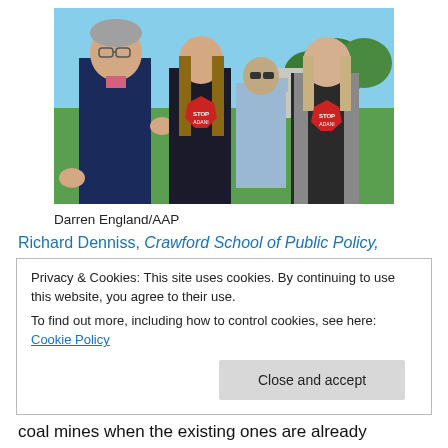[Figure (photo): A man in a navy sweater appears to be speaking with two young women wearing Stop Adani protest badges on their shirts, outdoors on a green lawn with trees and a building in the background. Another person stands behind them.]
Darren England/AAP
Richard Denniss, Crawford School of Public Policy,
Privacy & Cookies: This site uses cookies. By continuing to use this website, you agree to their use.
To find out more, including how to control cookies, see here: Cookie Policy
Close and accept
coal mines when the existing ones are already